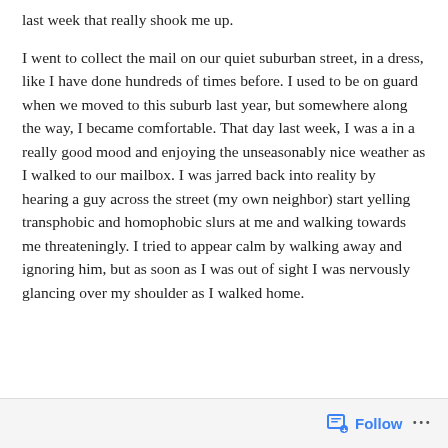last week that really shook me up.

I went to collect the mail on our quiet suburban street, in a dress, like I have done hundreds of times before. I used to be on guard when we moved to this suburb last year, but somewhere along the way, I became comfortable. That day last week, I was a in a really good mood and enjoying the unseasonably nice weather as I walked to our mailbox. I was jarred back into reality by hearing a guy across the street (my own neighbor) start yelling transphobic and homophobic slurs at me and walking towards me threateningly. I tried to appear calm by walking away and ignoring him, but as soon as I was out of sight I was nervously glancing over my shoulder as I walked home.
Follow ...